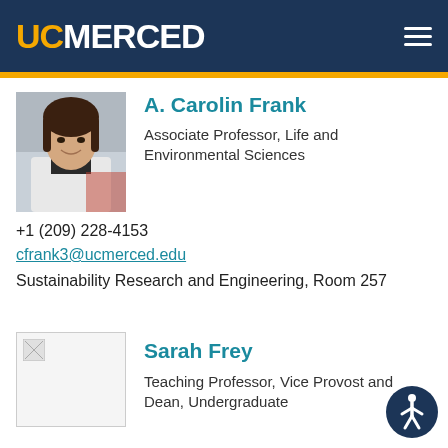UC MERCED
[Figure (photo): Profile photo of A. Carolin Frank, a woman with dark hair smiling, wearing a white coat]
A. Carolin Frank
Associate Professor, Life and Environmental Sciences
+1 (209) 228-4153
cfrank3@ucmerced.edu
Sustainability Research and Engineering, Room 257
[Figure (photo): Broken image placeholder for Sarah Frey profile photo]
Sarah Frey
Teaching Professor, Vice Provost and Dean, Undergraduate